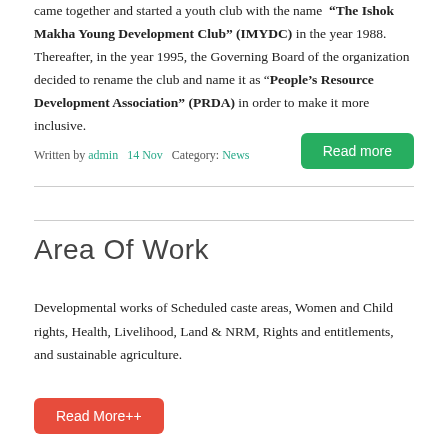came together and started a youth club with the name “The Ishok Makha Young Development Club” (IMYDC) in the year 1988. Thereafter, in the year 1995, the Governing Board of the organization decided to rename the club and name it as “People’s Resource Development Association” (PRDA) in order to make it more inclusive.
Written by admin   14 Nov   Category: News
Read more
Area Of Work
Developmental works of Scheduled caste areas, Women and Child rights, Health, Livelihood, Land & NRM, Rights and entitlements, and sustainable agriculture.
Read More++